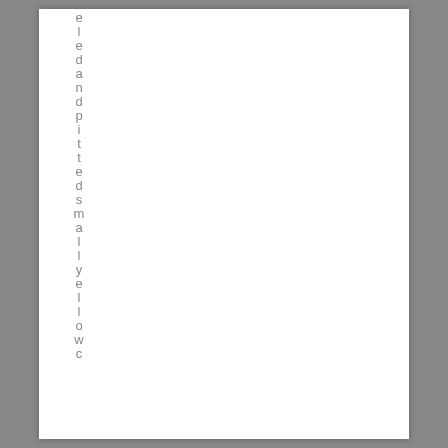eled and pitted small yellow wc